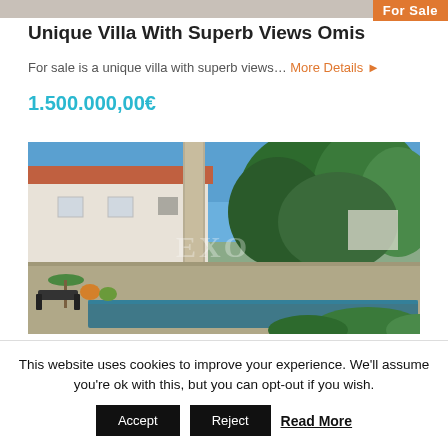[Figure (photo): Top strip of a property photo partially visible, with orange 'For Sale' badge in top right corner]
Unique Villa With Superb Views Omis
For sale is a unique villa with superb views… More Details ▶
1.500.000,00€
[Figure (photo): Exterior photo of a villa with stone terrace, covered porch with column, lush green trees, swimming pool edge, and furniture. Watermark visible.]
This website uses cookies to improve your experience. We'll assume you're ok with this, but you can opt-out if you wish.
Accept   Reject   Read More